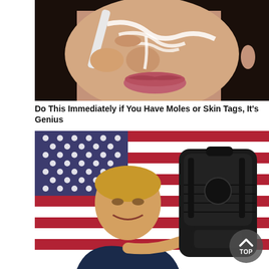[Figure (photo): Close-up photo of a woman applying a white cream or substance near her nose and eye area, used as clickbait advertisement image for skin tags/moles removal product.]
Do This Immediately if You Have Moles or Skin Tags, It's Genius
[Figure (photo): Photo showing a person in front of an American flag pointing at a black tactical sling backpack. A circular 'TOP' navigation button overlay appears in the lower right corner.]